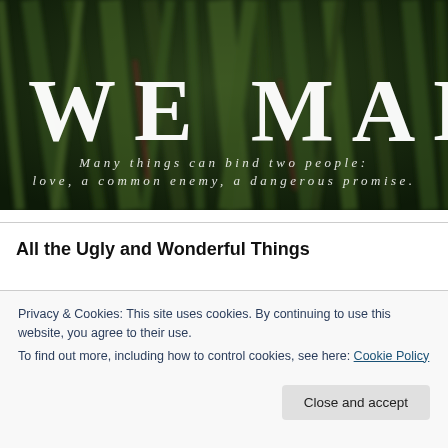[Figure (photo): Dark green textured background resembling grass or foliage with large white serif text 'WE MADE' and italic subtitle 'Many things can bind two people: love, a common enemy, a dangerous promise.']
All the Ugly and Wonderful Things
Privacy & Cookies: This site uses cookies. By continuing to use this website, you agree to their use.
To find out more, including how to control cookies, see here: Cookie Policy